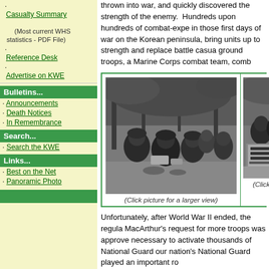Casualty Summary (Most current WHS statistics - PDF File)
Reference Desk
Advertise on KWE
Bulletins...
Announcements
Death Notices
In Remembrance
Search...
Search the KWE
Links...
Best on the Net
Panoramic Photo
thrown into war, and quickly discovered the strength of the enemy. Hundreds upon hundreds of combat-experienced in those first days of war on the Korean peninsula, bring units up to strength and replace battle casualties ground troops, a Marine Corps combat team, comb
[Figure (photo): Black and white photo of soldiers gathered together in a wooded area, appearing to be resting or conferring during the Korean War.]
(Click picture for a larger view)
[Figure (photo): Partially visible black and white photo showing soldiers, partially cropped on the right side of the page.]
(Click pictu...
Unfortunately, after World War II ended, the regular Army was reduced and MacArthur's request for more troops was approved, it became necessary to activate thousands of National Guard units. Thus, our nation's National Guard played an important role...
According to the National Guard Bureau in Arlington, about 40% of the National Guard's total strength was mobilized when war broke out. Eight Guard divisions, actually served in Korea. Other guard units served in locations close to and far away from Korea.